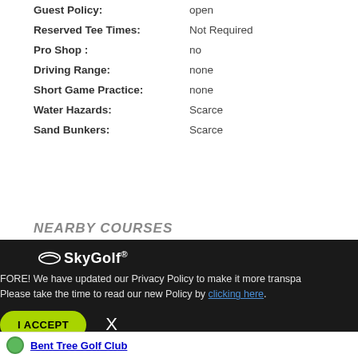Guest Policy: open
Reserved Tee Times: Not Required
Pro Shop : no
Driving Range: none
Short Game Practice: none
Water Hazards: Scarce
Sand Bunkers: Scarce
NEARBY COURSES
FORE! We have updated our Privacy Policy to make it more transparent. Please take the time to read our new Policy by clicking here.
I ACCEPT   X
Bent Tree Golf Club